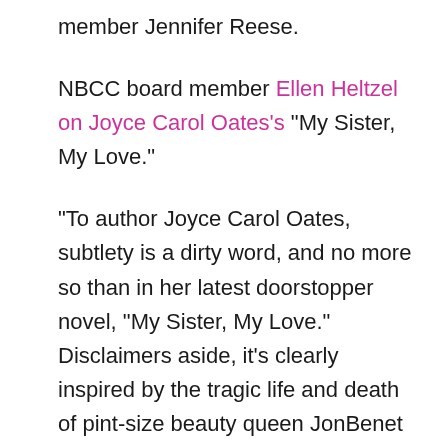member Jennifer Reese.
NBCC board member Ellen Heltzel on Joyce Carol Oates's “My Sister, My Love.”
“To author Joyce Carol Oates, subtlety is a dirty word, and no more so than in her latest doorstopper novel, “My Sister, My Love.” Disclaimers aside, it’s clearly inspired by the tragic life and death of pint-size beauty queen JonBenet Ramsey — an event that resulted in a media circus and gives Oates the chance to poke not the Ramseys, but the Ramsey watchers, in our collective eye.”